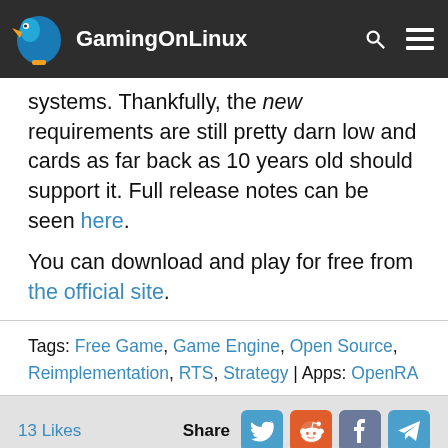GamingOnLinux
systems. Thankfully, the new requirements are still pretty darn low and cards as far back as 10 years old should support it. Full release notes can be seen here.
You can download and play for free from the official site.
Tags: Free Game, Game Engine, Open Source, Reimplementation, RTS, Strategy | Apps: OpenRA
13 Likes  Share
We do often include affiliate links to earn us some pennies. We are currently affiliated with GOG and Humble Store. See more here.
About the author Liam Dawe